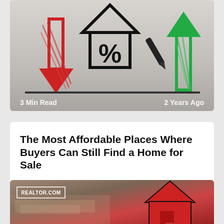[Figure (photo): Illustration of a hand drawing arrows and percentage symbols on a whiteboard — a red down arrow on the left, a house with percent sign in the middle, and a green up arrow on the right. Overlaid text reads '3 Min Read' on the left and '2 Years Ago' on the right.]
The Most Affordable Places Where Buyers Can Still Find a Home for Sale
gerenme/iStockAs home prices have surged over the past few years, many buyers have been chasing affordability. They've sought out smaller homes,
[Figure (photo): Photo of a red house-shaped puzzle piece on a blurred background of money/currency. A REALTOR.COM badge is visible in the top-left corner.]